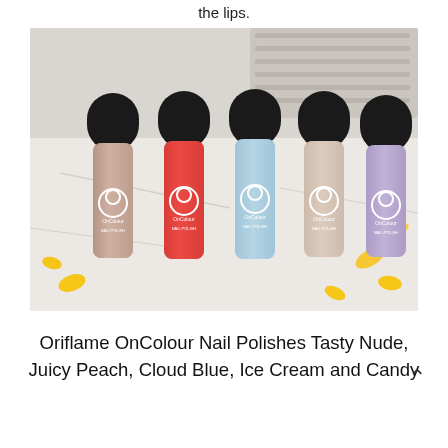the lips.
[Figure (photo): Five Oriflame OnColour nail polish bottles arranged in a row on a marble surface. From left to right: nude/pink, coral/red, light blue, pale pink/cream, and lavender/purple. Each bottle has a black cap and white Oriflame logo. Background is soft white with yellow flower petals scattered around.]
Oriflame OnColour Nail Polishes Tasty Nude, Juicy Peach, Cloud Blue, Ice Cream and Candy